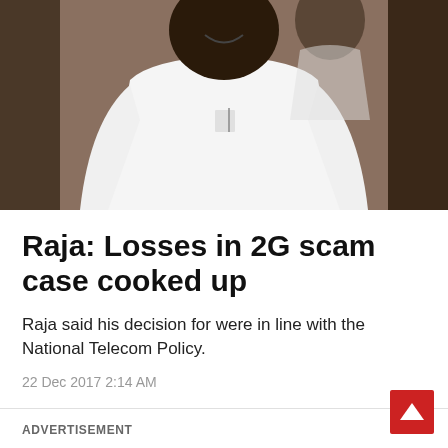[Figure (photo): A man in a white shirt smiling, photographed outdoors near a brownish/red wall background]
Raja: Losses in 2G scam case cooked up
Raja said his decision for were in line with the National Telecom Policy.
22 Dec 2017 2:14 AM
ADVERTISEMENT